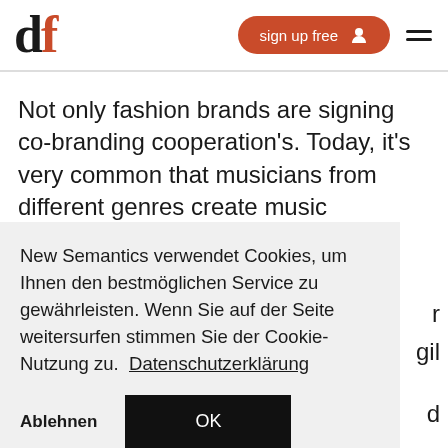df — sign up free
Not only fashion brands are signing co-branding cooperation's. Today, it's very common that musicians from different genres create music
New Semantics verwendet Cookies, um Ihnen den bestmöglichen Service zu gewährleisten. Wenn Sie auf der Seite weitersurfen stimmen Sie der Cookie-Nutzung zu.  Datenschutzerklärung
Ablehnen   OK